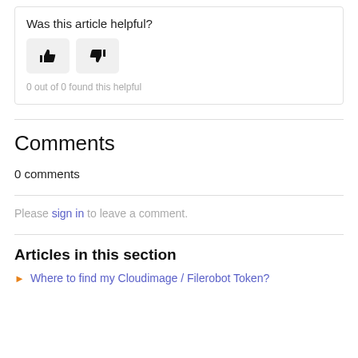Was this article helpful?
[Figure (other): Thumbs up and thumbs down buttons for article feedback]
0 out of 0 found this helpful
Comments
0 comments
Please sign in to leave a comment.
Articles in this section
Where to find my Cloudimage / Filerobot Token?